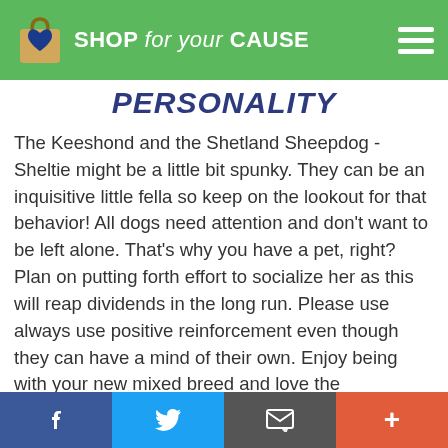SHOP for your CAUSE
PERSONALITY
The Keeshond and the Shetland Sheepdog - Sheltie might be a little bit spunky. They can be an inquisitive little fella so keep on the lookout for that behavior! All dogs need attention and don't want to be left alone. That's why you have a pet, right? Plan on putting forth effort to socialize her as this will reap dividends in the long run. Please use always use positive reinforcement even though they can have a mind of their own. Enjoy being with your new mixed breed and love the relationship you will have with them.
Facebook | Twitter | Email | +